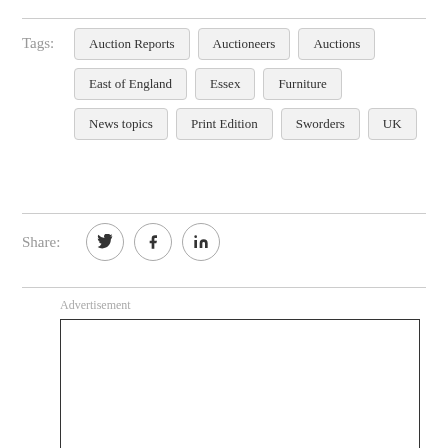Tags: Auction Reports  Auctioneers  Auctions  East of England  Essex  Furniture  News topics  Print Edition  Sworders  UK
Share: [Twitter] [Facebook] [LinkedIn]
Advertisement
[Figure (other): Empty advertisement box with black border]